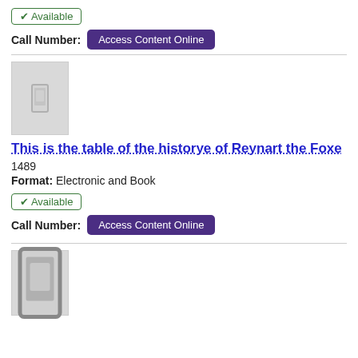✔ Available
Call Number: Access Content Online
[Figure (illustration): Gray placeholder book cover thumbnail with a small tablet/phone icon in the center]
This is the table of the historye of Reynart the Foxe
1489
Format: Electronic and Book
✔ Available
Call Number: Access Content Online
[Figure (illustration): Gray placeholder book cover thumbnail with a small tablet/phone icon in the center]